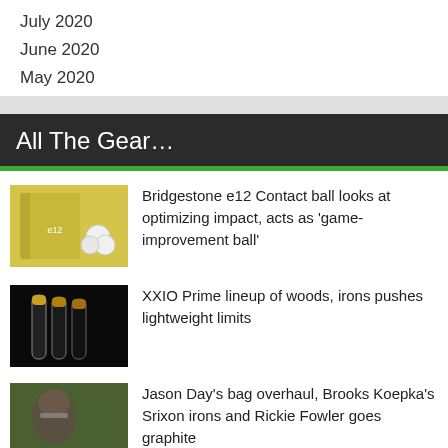July 2020
June 2020
May 2020
All The Gear…
Bridgestone e12 Contact ball looks at optimizing impact, acts as 'game-improvement ball'
[Figure (photo): Bridgestone e12 Contact golf ball box and balls]
XXIO Prime lineup of woods, irons pushes lightweight limits
[Figure (photo): XXIO Prime golf clubs on dark background]
Jason Day's bag overhaul, Brooks Koepka's Srixon irons and Rickie Fowler goes graphite